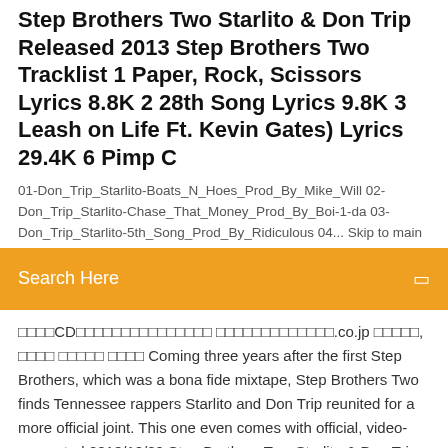Step Brothers Two Starlito & Don Trip Released 2013 Step Brothers Two Tracklist 1 Paper, Rock, Scissors Lyrics 8.8K 2 28th Song Lyrics 9.8K 3 Leash on Life Ft. Kevin Gates) Lyrics 29.4K 6 Pimp C
01-Don_Trip_Starlito-Boats_N_Hoes_Prod_By_Mike_Will 02-Don_Trip_Starlito-Chase_That_Money_Prod_By_Boi-1-da 03-Don_Trip_Starlito-5th_Song_Prod_By_Ridiculous 04... Skip to main
Search Here
□□□□CD□□□□□□□□□□□□□□□□□ □□□□□□□□□□□□□.co.jp □□□□□, □□□□ □□□□□ □□□□ Coming three years after the first Step Brothers, which was a bona fide mixtape, Step Brothers Two finds Tennessee rappers Starlito and Don Trip reunited for a more official joint. This one even comes with official, video-supported 2013/12/09 Step Brothers Two Starlito & Don Trip Released 2013 Step Brothers Two Tracklist 1 Paper, Rock, Scissors Lyrics 8.8K 2 28th Song Lyrics 9.8K 3 Leash on Life Ft. Kevin Gates) Lyrics 29.4K 6 Pimp C